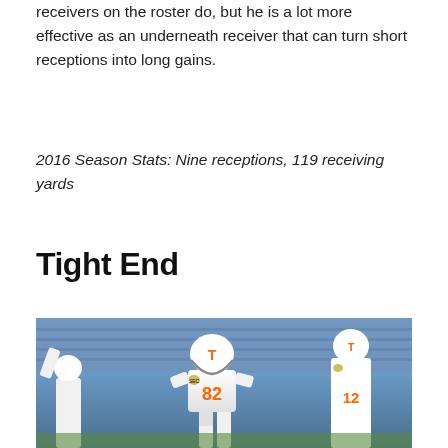receivers on the roster do, but he is a lot more effective as an underneath receiver that can turn short receptions into long gains.
2016 Season Stats: Nine receptions, 119 receiving yards
Tight End
[Figure (photo): Tennessee Volunteers football player wearing white uniform with orange number 82 and SEC patch, white helmet with orange T logo, running on field. Another player in same uniform visible on right side. Blurred blue stadium seats in background.]